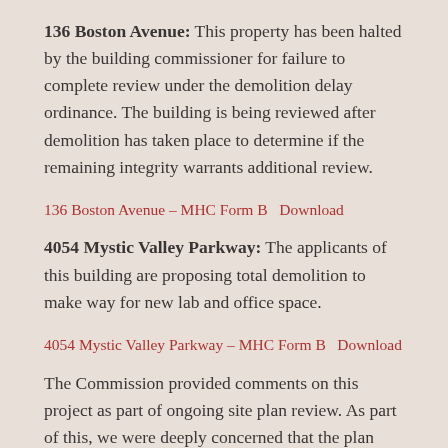136 Boston Avenue: This property has been halted by the building commissioner for failure to complete review under the demolition delay ordinance. The building is being reviewed after demolition has taken place to determine if the remaining integrity warrants additional review.
136 Boston Avenue – MHC Form B   Download
4054 Mystic Valley Parkway: The applicants of this building are proposing total demolition to make way for new lab and office space.
4054 Mystic Valley Parkway – MHC Form B   Download
The Commission provided comments on this project as part of ongoing site plan review. As part of this, we were deeply concerned that the plan does not take into